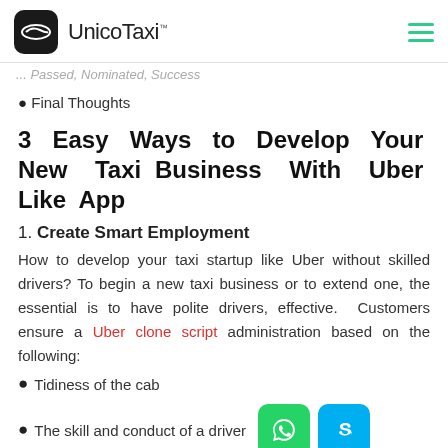UnicoTaxi
... Passed, Nominated, Success
Final Thoughts
3 Easy Ways to Develop Your New Taxi Business With Uber Like App
1. Create Smart Employment
How to develop your taxi startup like Uber without skilled drivers? To begin a new taxi business or to extend one, the essential is to have polite drivers, effective. Customers ensure a Uber clone script administration based on the following:
Tidiness of the cab
The skill and conduct of a driver
Pickup and drop timeliness